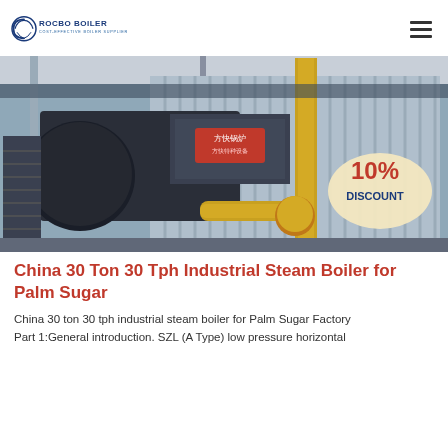ROCBO BOILER - COST-EFFECTIVE BOILER SUPPLIER
[Figure (photo): Industrial steam boiler in a factory setting, large cylindrical black boiler body with yellow gas pipes and corrugated metal cladding. A '10% DISCOUNT' badge visible in the lower right corner.]
China 30 Ton 30 Tph Industrial Steam Boiler for Palm Sugar
China 30 ton 30 tph industrial steam boiler for Palm Sugar Factory Part 1:General introduction. SZL (A Type) low pressure horizontal